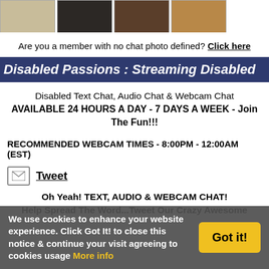[Figure (photo): Strip of four thumbnail photos of people]
Are you a member with no chat photo defined? Click here
Disabled Passions : Streaming Disabled
Disabled Text Chat, Audio Chat & Webcam Chat AVAILABLE 24 HOURS A DAY - 7 DAYS A WEEK - Join The Fun!!!
RECOMMENDED WEBCAM TIMES - 8:00PM - 12:00AM (EST)
Tweet
Oh Yeah! TEXT, AUDIO & WEBCAM CHAT!
Help Spread The Word...Tweet Our Crazy Awesome
We use cookies to enhance your website experience. Click Got It! to close this notice & continue your visit agreeing to cookies usage More info